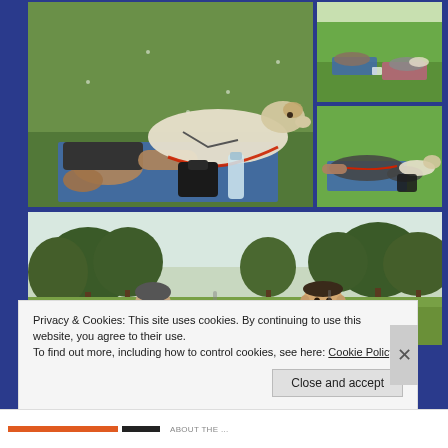[Figure (photo): Collage of four outdoor park photos: large main photo of a greyhound/whippet dog lying on a blue yoga mat on green grass with a person's arm and legs visible, red leash, black boots, and a water bottle. Top right: distant view of two people lying on mats on green grass. Mid right: closer view of a person lying on a blue mat on green grass with a dog and other items. Bottom: wide photo of a park with trees and two men in the foreground, one wearing glasses.]
Privacy & Cookies: This site uses cookies. By continuing to use this website, you agree to their use.
To find out more, including how to control cookies, see here: Cookie Policy
ABOUT THE ...